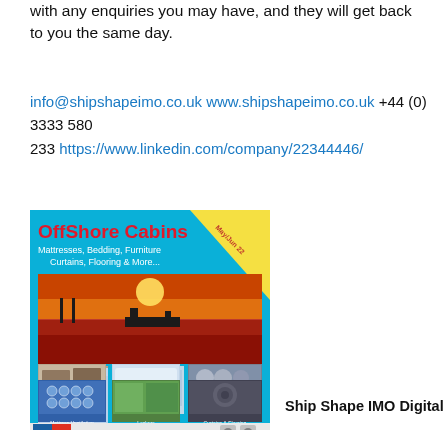with any enquiries you may have, and they will get back to you the same day.
info@shipshapeimo.co.uk www.shipshapeimo.co.uk +44 (0) 3333 580 233 https://www.linkedin.com/company/22344446/
[Figure (photo): OffShore Cabins catalogue cover featuring a ship at sunset with product images for mattresses, bedding, furniture, curtains, flooring and more. Ship Shape IMO branding.]
Ship Shape IMO Digital